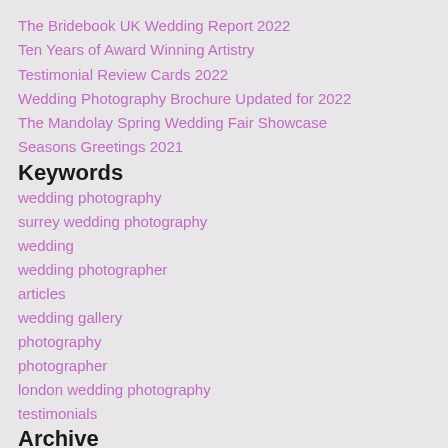The Bridebook UK Wedding Report 2022
Ten Years of Award Winning Artistry
Testimonial Review Cards 2022
Wedding Photography Brochure Updated for 2022
The Mandolay Spring Wedding Fair Showcase
Seasons Greetings 2021
Keywords
wedding photography
surrey wedding photography
wedding
wedding photographer
articles
wedding gallery
photography
photographer
london wedding photography
testimonials
Archive
« 2021 2022
January (2)